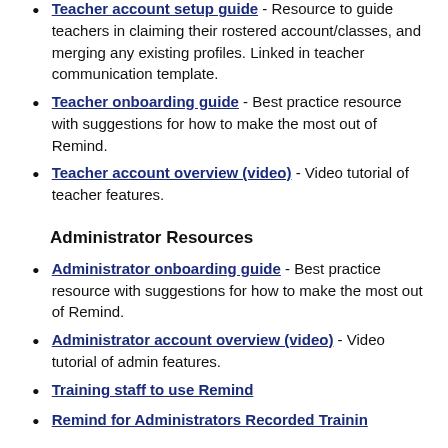Teacher account setup guide - Resource to guide teachers in claiming their rostered account/classes, and merging any existing profiles. Linked in teacher communication template.
Teacher onboarding guide - Best practice resource with suggestions for how to make the most out of Remind.
Teacher account overview (video) - Video tutorial of teacher features.
Administrator Resources
Administrator onboarding guide - Best practice resource with suggestions for how to make the most out of Remind.
Administrator account overview (video) - Video tutorial of admin features.
Training staff to use Remind
Remind for Administrators Recorded Training